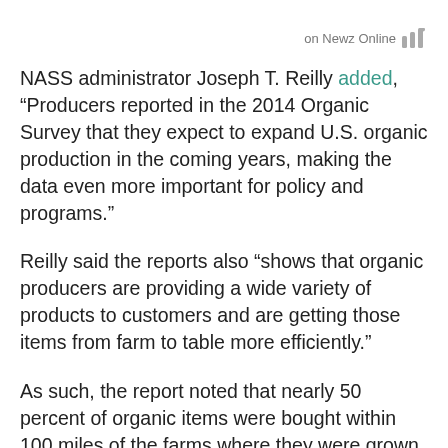on Newz Online
NASS administrator Joseph T. Reilly added, “Producers reported in the 2014 Organic Survey that they expect to expand U.S. organic production in the coming years, making the data even more important for policy and programs.”
Reilly said the reports also “shows that organic producers are providing a wide variety of products to customers and are getting those items from farm to table more efficiently.”
As such, the report noted that nearly 50 percent of organic items were bought within 100 miles of the farms where they were grown